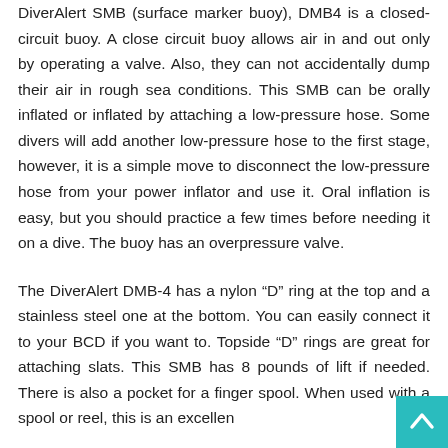DiverAlert SMB (surface marker buoy), DMB4 is a closed-circuit buoy. A close circuit buoy allows air in and out only by operating a valve. Also, they can not accidentally dump their air in rough sea conditions. This SMB can be orally inflated or inflated by attaching a low-pressure hose. Some divers will add another low-pressure hose to the first stage, however, it is a simple move to disconnect the low-pressure hose from your power inflator and use it. Oral inflation is easy, but you should practice a few times before needing it on a dive. The buoy has an overpressure valve.
The DiverAlert DMB-4 has a nylon “D” ring at the top and a stainless steel one at the bottom. You can easily connect it to your BCD if you want to. Topside “D” rings are great for attaching slats. This SMB has 8 pounds of lift if needed. There is also a pocket for a finger spool. When used with a spool or reel, this is an excellent
[Figure (other): Back-to-top navigation button: teal/cyan square with white upward-pointing chevron arrow]